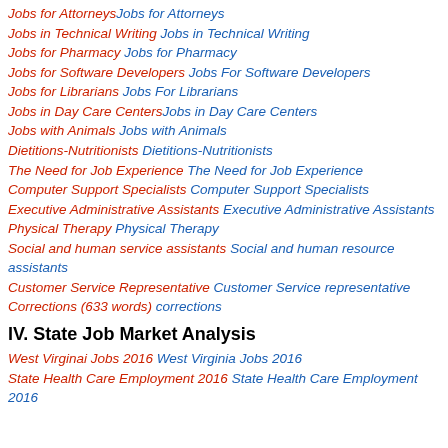Jobs for Attorneys Jobs for Attorneys
Jobs in Technical Writing Jobs in Technical Writing
Jobs for Pharmacy Jobs for Pharmacy
Jobs for Software Developers Jobs For Software Developers
Jobs for Librarians Jobs For Librarians
Jobs in Day Care Centers Jobs in Day Care Centers
Jobs with Animals Jobs with Animals
Dietitions-Nutritionists Dietitions-Nutritionists
The Need for Job Experience The Need for Job Experience
Computer Support Specialists Computer Support Specialists
Executive Administrative Assistants Executive Administrative Assistants
Physical Therapy Physical Therapy
Social and human service assistants Social and human resource assistants
Customer Service Representative Customer Service representative
Corrections (633 words) corrections
IV. State Job Market Analysis
West Virginai Jobs 2016 West Virginia Jobs 2016
State Health Care Employment 2016 State Health Care Employment 2016